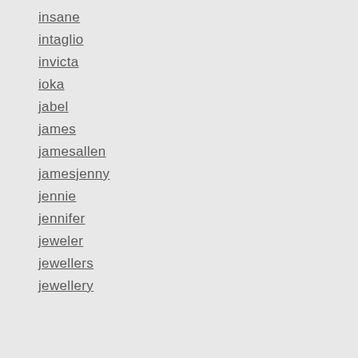insane
intaglio
invicta
ioka
jabel
james
jamesallen
jamesjenny
jennie
jennifer
jeweler
jewellers
jewellery